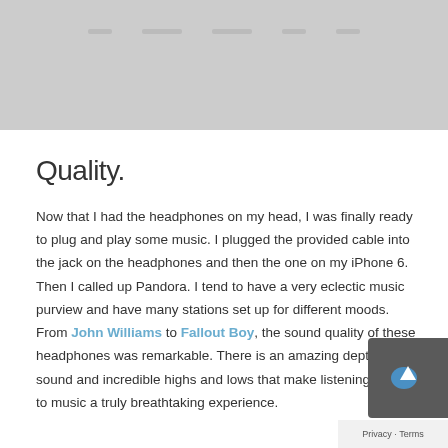[Figure (screenshot): Top portion of a webpage screenshot showing a gray navigation/image area]
Quality.
Now that I had the headphones on my head, I was finally ready to plug and play some music. I plugged the provided cable into the jack on the headphones and then the one on my iPhone 6. Then I called up Pandora. I tend to have a very eclectic music purview and have many stations set up for different moods. From John Williams to Fallout Boy, the sound quality of these headphones was remarkable. There is an amazing depth of sound and incredible highs and lows that make listening to music a truly breathtaking experience.